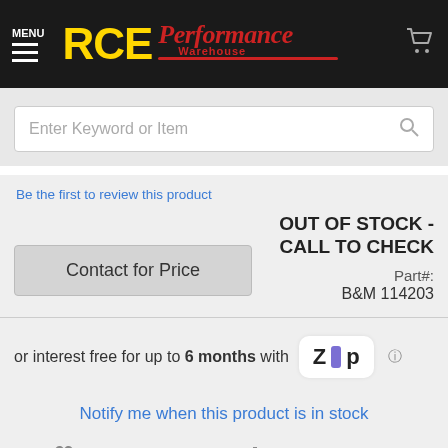[Figure (logo): RCE Performance Warehouse logo on dark background with menu icon and shopping cart]
Enter Keyword or Item
Be the first to review this product
OUT OF STOCK - CALL TO CHECK
Contact for Price
Part#: B&M 114203
or interest free for up to 6 months with Zip
Notify me when this product is in stock
ADD TO WISH LIST
ADD TO COMPARE
EMAIL